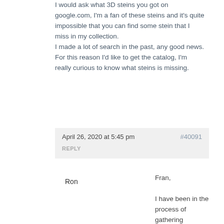I would ask what 3D steins you got on google.com, I'm a fan of these steins and it's quite impossible that you can find some stein that I miss in my collection.
I made a lot of search in the past, any good news.
For this reason I'd like to get the catalog, I'm really curious to know what steins is missing.
April 26, 2020 at 5:45 pm   #40091   REPLY
Ron
Fran,
I have been in the process of gathering information on the three largest pottery steins for an